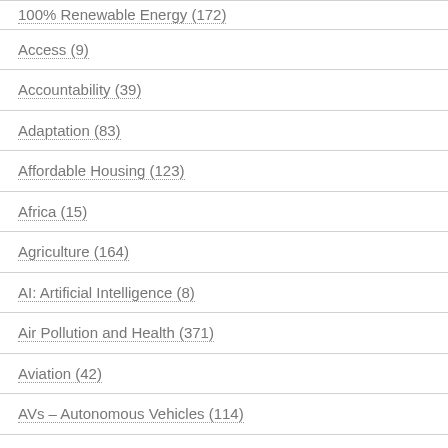100% Renewable Energy (172)
Access (9)
Accountability (39)
Adaptation (83)
Affordable Housing (123)
Africa (15)
Agriculture (164)
AI: Artificial Intelligence (8)
Air Pollution and Health (371)
Aviation (42)
AVs – Autonomous Vehicles (114)
Banks (43)